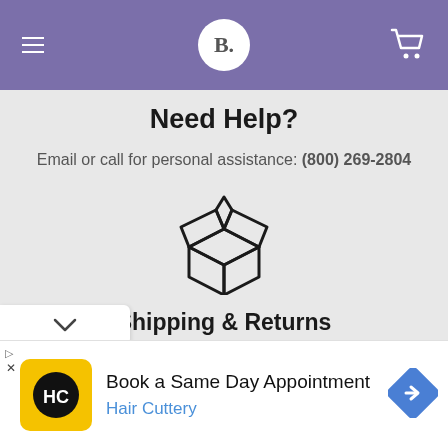B.
Need Help?
Email or call for personal assistance: (800) 269-2804
[Figure (illustration): Open box / package icon (shipping icon)]
Shipping & Returns
See our shipping rates and returns policies
[Figure (infographic): Advertisement: Book a Same Day Appointment - Hair Cuttery, with yellow HC logo and blue diamond arrow icon]